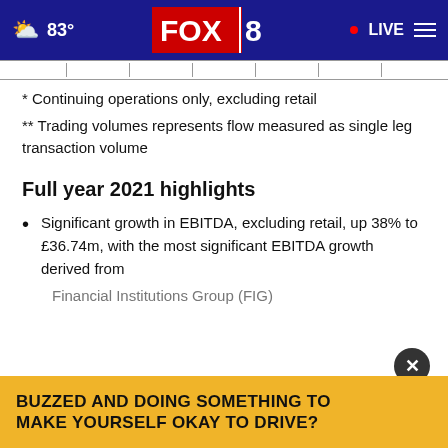83° FOX 8 LIVE
* Continuing operations only, excluding retail
** Trading volumes represents flow measured as single leg transaction volume
Full year 2021 highlights
Significant growth in EBITDA, excluding retail, up 38% to £36.74m, with the most significant EBITDA growth derived from Financial Institutions Group (FIG)
[Figure (screenshot): Advertisement banner: BUZZED AND DOING SOMETHING TO MAKE YOURSELF OKAY TO DRIVE?]